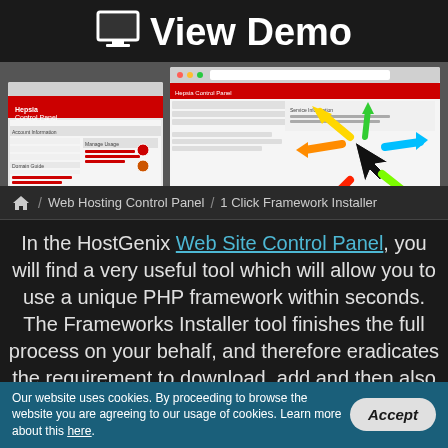View Demo
[Figure (screenshot): Screenshot of a web hosting control panel interface showing browser windows with colorful cursor/arrows graphic in the center]
/ Web Hosting Control Panel / 1 Click Framework Installer
In the HostGenix Web Site Control Panel, you will find a very useful tool which will allow you to use a unique PHP framework within seconds. The Frameworks Installer tool finishes the full process on your behalf, and therefore eradicates the requirement to download, add and then also configure your framework before you start any project. You're all set to start
Our website uses cookies. By proceeding to browse the website you are agreeing to our usage of cookies. Learn more about this here.